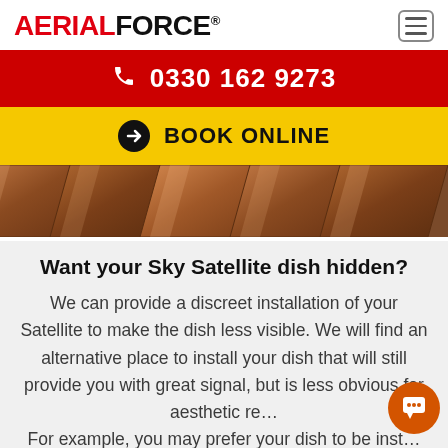AERIALFORCE®
☎ 0330 162 9273
➜ BOOK ONLINE
[Figure (photo): Close-up photo of roof tiles, brown/terracotta diagonal pattern]
Want your Sky Satellite dish hidden?
We can provide a discreet installation of your Satellite to make the dish less visible. We will find an alternative place to install your dish that will still provide you with great signal, but is less obvious for aesthetic re... For example, you may prefer your dish to be inst... at the back of a roof, or against the side of the fr...